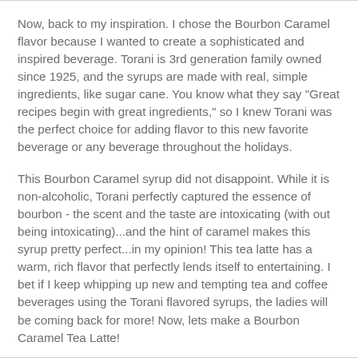Now, back to my inspiration. I chose the Bourbon Caramel flavor because I wanted to create a sophisticated and inspired beverage. Torani is 3rd generation family owned since 1925, and the syrups are made with real, simple ingredients, like sugar cane. You know what they say "Great recipes begin with great ingredients," so I knew Torani was the perfect choice for adding flavor to this new favorite beverage or any beverage throughout the holidays.
This Bourbon Caramel syrup did not disappoint. While it is non-alcoholic, Torani perfectly captured the essence of bourbon - the scent and the taste are intoxicating (with out being intoxicating)...and the hint of caramel makes this syrup pretty perfect...in my opinion! This tea latte has a warm, rich flavor that perfectly lends itself to entertaining. I bet if I keep whipping up new and tempting tea and coffee beverages using the Torani flavored syrups, the ladies will be coming back for more! Now, lets make a Bourbon Caramel Tea Latte!